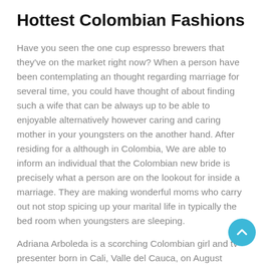Hottest Colombian Fashions
Have you seen the one cup espresso brewers that they've on the market right now? When a person have been contemplating an thought regarding marriage for several time, you could have thought of about finding such a wife that can be always up to be able to enjoyable alternatively however caring and caring mother in your youngsters on the another hand. After residing for a although in Colombia, We are able to inform an individual that the Colombian new bride is precisely what a person are on the lookout for inside a marriage. They are making wonderful moms who carry out not stop spicing up your marital life in typically the bed room when youngsters are sleeping.
Adriana Arboleda is a scorching Colombian girl and tv presenter born in Cali, Valle del Cauca, on August